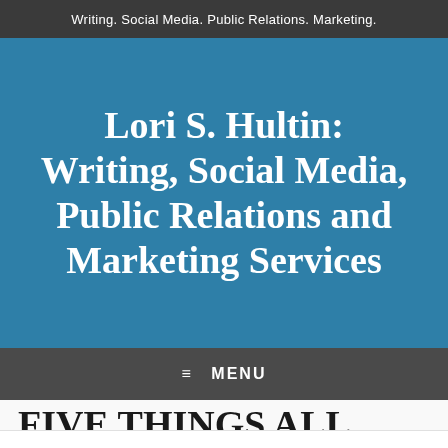Writing. Social Media. Public Relations. Marketing.
Lori S. Hultin: Writing, Social Media, Public Relations and Marketing Services
≡ MENU
FIVE THINGS ALL
SOCIAL MEDIA